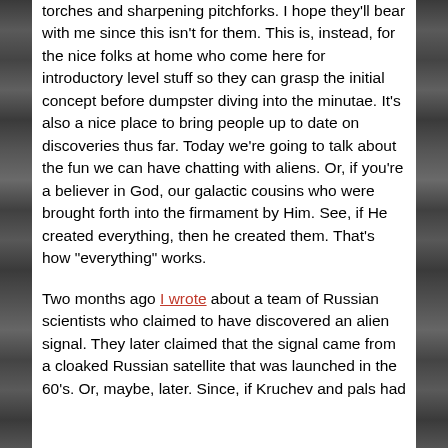torches and sharpening pitchforks. I hope they'll bear with me since this isn't for them. This is, instead, for the nice folks at home who come here for introductory level stuff so they can grasp the initial concept before dumpster diving into the minutae. It's also a nice place to bring people up to date on discoveries thus far. Today we're going to talk about the fun we can have chatting with aliens. Or, if you're a believer in God, our galactic cousins who were brought forth into the firmament by Him. See, if He created everything, then he created them. That's how "everything" works.
Two months ago I wrote about a team of Russian scientists who claimed to have discovered an alien signal. They later claimed that the signal came from a cloaked Russian satellite that was launched in the 60's. Or, maybe, later. Since, if Kruchev and pals had